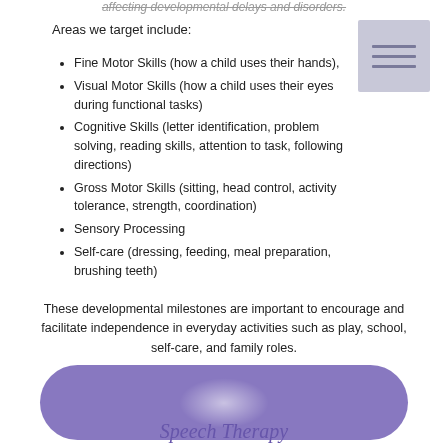affecting developmental delays and disorders.
Areas we target include:
[Figure (illustration): A small grey box icon with three horizontal lines representing a menu or list icon]
Fine Motor Skills (how a child uses their hands),
Visual Motor Skills (how a child uses their eyes during functional tasks)
Cognitive Skills (letter identification, problem solving, reading skills, attention to task, following directions)
Gross Motor Skills (sitting, head control, activity tolerance, strength, coordination)
Sensory Processing
Self-care (dressing, feeding, meal preparation, brushing teeth)
These developmental milestones are important to encourage and facilitate independence in everyday activities such as play, school, self-care, and family roles.
[Figure (illustration): A purple rounded pill/banner shape with a soft white radial glow in the center]
Speech Therapy